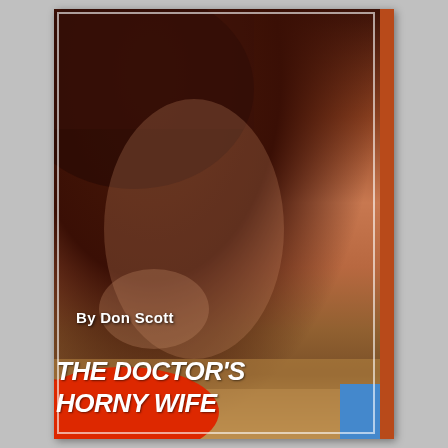[Figure (photo): Book cover showing a woman posing on a carpet in front of a dark sofa, with long wavy blonde hair, smiling over her shoulder. The cover has a red starburst badge at the bottom with the book title, and author name overlaid on the photo.]
By Don Scott
THE DOCTOR'S HORNY WIFE